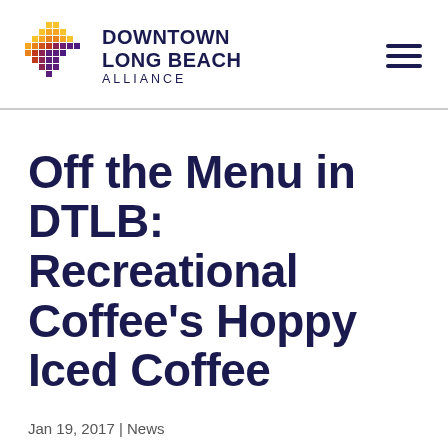[Figure (logo): Downtown Long Beach Alliance logo — colorful diamond/chevron pixel pattern in red, orange, yellow, and purple gradients, with bold navy text DOWNTOWN LONG BEACH ALLIANCE]
Off the Menu in DTLB: Recreational Coffee's Hoppy Iced Coffee
Jan 19, 2017 | News